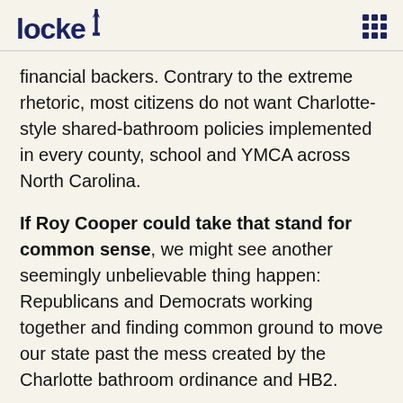locke
financial backers. Contrary to the extreme rhetoric, most citizens do not want Charlotte-style shared-bathroom policies implemented in every county, school and YMCA across North Carolina.
If Roy Cooper could take that stand for common sense, we might see another seemingly unbelievable thing happen: Republicans and Democrats working together and finding common ground to move our state past the mess created by the Charlotte bathroom ordinance and HB2.
Phil Berger is the President Pro Tempore of the North Carolina Senate.